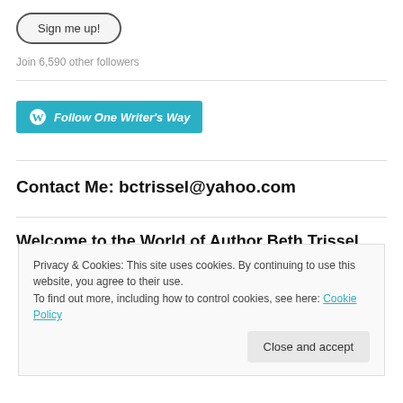Sign me up!
Join 6,590 other followers
[Figure (other): WordPress Follow button: 'Follow One Writer's Way' in teal/blue]
Contact Me: bctrissel@yahoo.com
Welcome to the World of Author Beth Trissel
Privacy & Cookies: This site uses cookies. By continuing to use this website, you agree to their use.
To find out more, including how to control cookies, see here: Cookie Policy
Close and accept